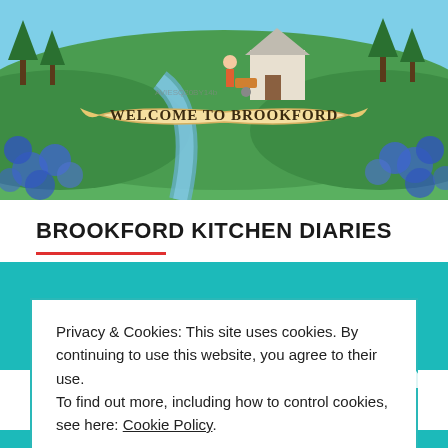[Figure (illustration): Illustrated banner showing a countryside scene with green hills, a blue stream, trees, blue flowers, and a welcome sign reading 'WELCOME TO BROOKFORD' on a ribbon banner. A person with a wheelbarrow is visible near a building.]
BROOKFORD KITCHEN DIARIES
Privacy & Cookies: This site uses cookies. By continuing to use this website, you agree to their use.
To find out more, including how to control cookies, see here: Cookie Policy
CLOSE AND ACCEPT